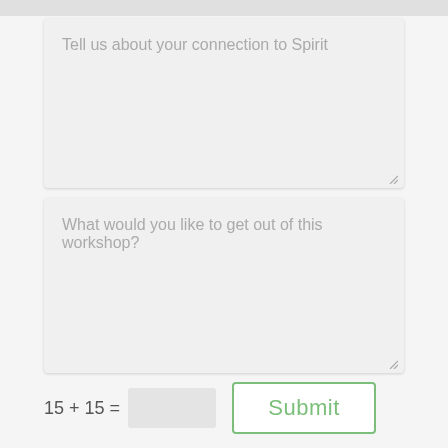Tell us about your connection to Spirit
What would you like to get out of this workshop?
Submit